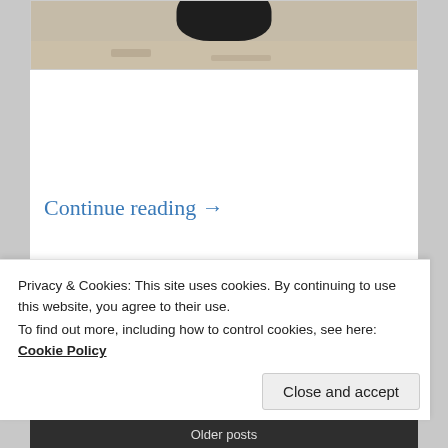[Figure (photo): Partial photo of an object (dark circular top, beige/concrete ground), cropped at top of page]
Continue reading →
Posted in Holidays, Iconic Sights, Teddy
Privacy & Cookies: This site uses cookies. By continuing to use this website, you agree to their use.
To find out more, including how to control cookies, see here:
Cookie Policy
Close and accept
Older posts